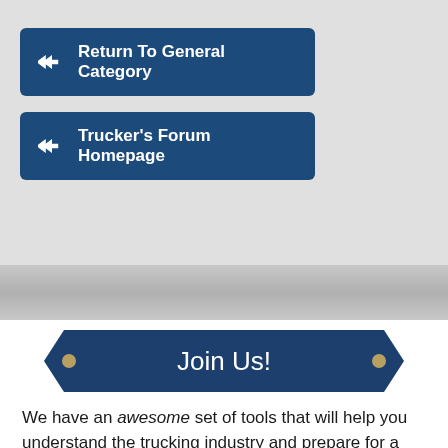[Figure (screenshot): Navigation button: Return To General Category with double back-arrow icon]
[Figure (screenshot): Navigation button: Trucker's Forum Homepage with double back-arrow icon]
[Figure (infographic): Pentagon/arrow-shaped banner reading 'Join Us!' with bolt decorations on sides]
We have an awesome set of tools that will help you understand the trucking industry and prepare for a great start to your trucking career. Not only that